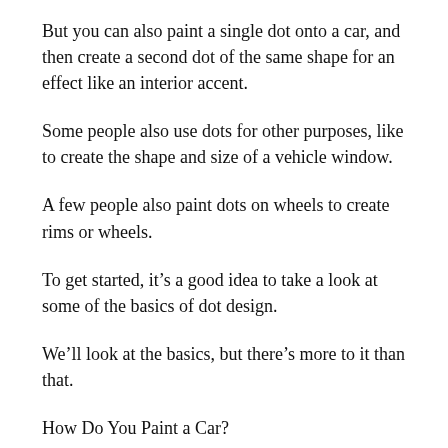But you can also paint a single dot onto a car, and then create a second dot of the same shape for an effect like an interior accent.
Some people also use dots for other purposes, like to create the shape and size of a vehicle window.
A few people also paint dots on wheels to create rims or wheels.
To get started, it’s a good idea to take a look at some of the basics of dot design.
We’ll look at the basics, but there’s more to it than that.
How Do You Paint a Car?
First, there are three basic steps to dot painting.